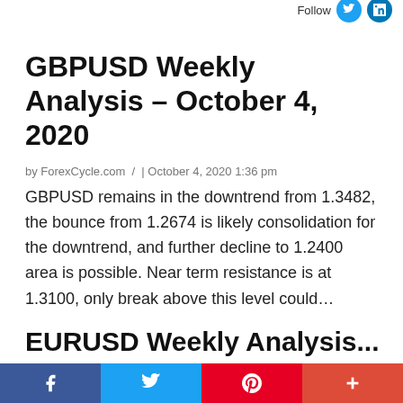Follow
GBPUSD Weekly Analysis – October 4, 2020
by ForexCycle.com  /  | October 4, 2020 1:36 pm
GBPUSD remains in the downtrend from 1.3482, the bounce from 1.2674 is likely consolidation for the downtrend, and further decline to 1.2400 area is possible. Near term resistance is at 1.3100, only break above this level could…
Social share bar: Facebook, Twitter, Pinterest, Plus